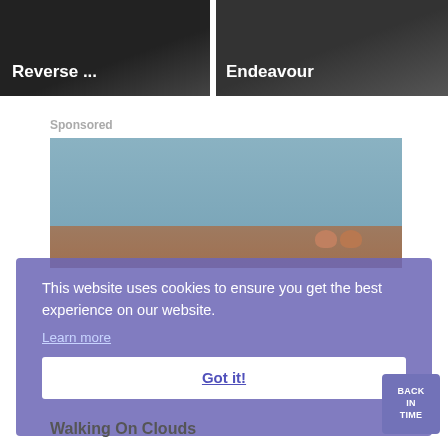[Figure (screenshot): Two dark video thumbnail images side by side. Left thumbnail has white bold text 'Reverse ...' on dark background. Right thumbnail has white bold text 'Endeavour' on dark background.]
Sponsored
[Figure (photo): Sponsored image showing a blue-grey sky with two partially visible figures (heads visible) at the bottom right of the image.]
This website uses cookies to ensure you get the best experience on our website.
Learn more
Got it!
BACK IN TIME
Walking On Clouds